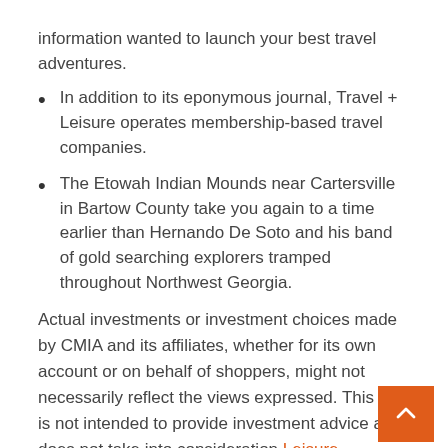information wanted to launch your best travel adventures.
In addition to its eponymous journal, Travel + Leisure operates membership-based travel companies.
The Etowah Indian Mounds near Cartersville in Bartow County take you again to a time earlier than Hernando De Soto and his band of gold searching explorers tramped throughout Northwest Georgia.
Actual investments or investment choices made by CMIA and its affiliates, whether for its own account or on behalf of shoppers, might not necessarily reflect the views expressed. This info is not intended to provide investment advice and does not take into consideration Leisure particular person investor circumstances. Investment selections ought to all the